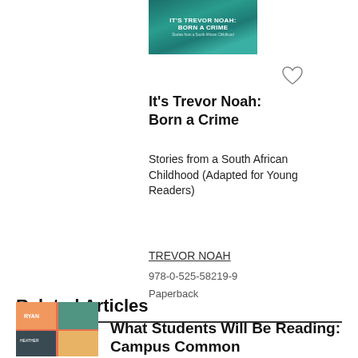[Figure (illustration): Book cover for 'It's Trevor Noah: Born a Crime' with teal and gold colors]
[Figure (illustration): Heart/favorite icon (unfilled)]
It's Trevor Noah: Born a Crime
Stories from a South African Childhood (Adapted for Young Readers)
TREVOR NOAH
978-0-525-58219-9
Paperback
Related Articles
[Figure (photo): Thumbnail image with colorful book covers collage]
What Students Will Be Reading: Campus Common